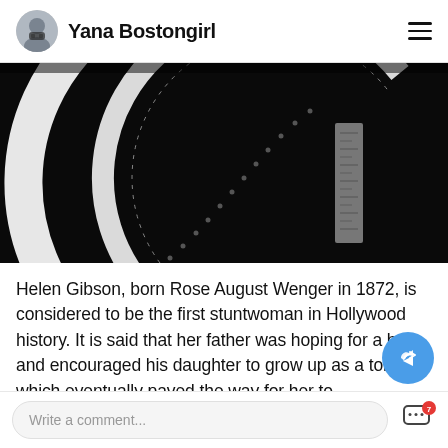Yana Bostongirl
[Figure (photo): Dark cinematic image showing film reel strips and curved white shapes against a black background, resembling a close-up of movie film equipment.]
Helen Gibson, born Rose August Wenger in 1872, is considered to be the first stuntwoman in Hollywood history. It is said that her father was hoping for a boy and encouraged his daughter to grow up as a tomboy which eventually paved the way for her to